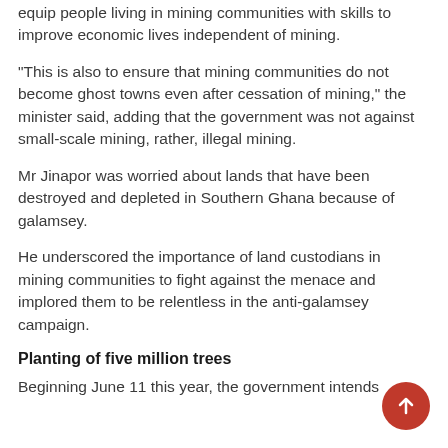equip people living in mining communities with skills to improve economic lives independent of mining.
“This is also to ensure that mining communities do not become ghost towns even after cessation of mining,” the minister said, adding that the government was not against small-scale mining, rather, illegal mining.
Mr Jinapor was worried about lands that have been destroyed and depleted in Southern Ghana because of galamsey.
He underscored the importance of land custodians in mining communities to fight against the menace and implored them to be relentless in the anti-galamsey campaign.
Planting of five million trees
Beginning June 11 this year, the government intends